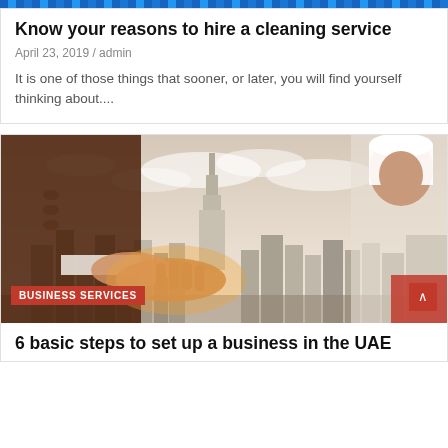[Figure (illustration): Top decorative blue banner strip image]
Know your reasons to hire a cleaning service
April 23, 2019 / admin
It is one of those things that sooner, or later, you will find yourself thinking about....
[Figure (photo): Two people reaching out to shake hands in front of Dubai skyline with Burj Khalifa. A man in a white thobe is on the right side. BUSINESS SERVICES badge shown at bottom left.]
6 basic steps to set up a business in the UAE